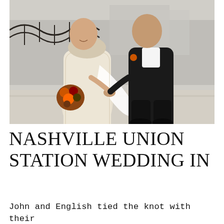[Figure (photo): A bride in a white off-shoulder lace wedding gown holding an orange and dark floral bouquet, walking hand-in-hand with a groom in a dark suit with a boutonniere, on an outdoor terrace with ornate iron railings and city buildings in the background.]
NASHVILLE UNION STATION WEDDING IN
John and English tied the knot with their